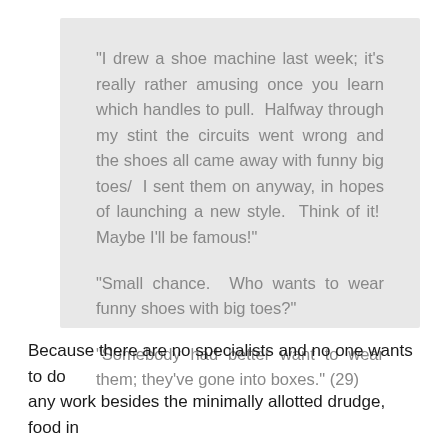"I drew a shoe machine last week; it's really rather amusing once you learn which handles to pull.  Halfway through my stint the circuits went wrong and the shoes all came away with funny big toes/  I sent them on anyway, in hopes of launching a new style.  Think of it!  Maybe I'll be famous!"

"Small chance.  Who wants to wear funny shoes with big toes?"

"Somebody had better want to wear them; they've gone into boxes." (29)
Because there are no specialists and no one wants to do any work besides the minimally allotted drudge, food in